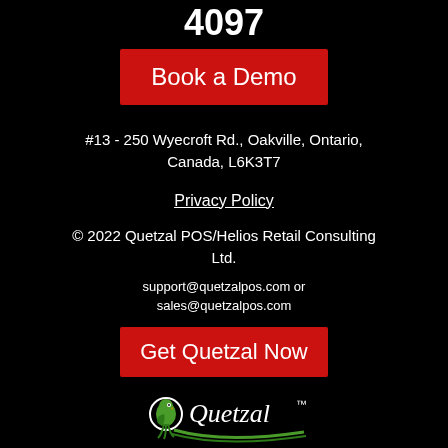4097
Book a Demo
#13 - 250 Wyecroft Rd., Oakville, Ontario, Canada, L6K3T7
Privacy Policy
© 2022 Quetzal POS/Helios Retail Consulting Ltd.
support@quetzalpos.com or
sales@quetzalpos.com
Get Quetzal Now
[Figure (logo): Quetzal logo with parrot and swoosh]
[Figure (other): Social media icons: Facebook, Twitter, Google+, YouTube, Instagram]